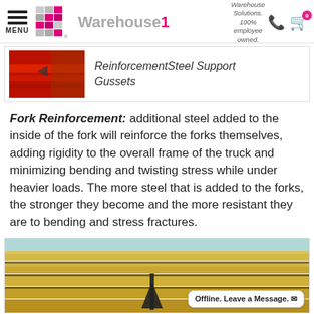MENU | Warehouse1 | Warehouse Solutions. 100% employee owned. | 0
[Figure (screenshot): Product strip showing a red forklift fork image with italic text: ReinforcementSteel Support Gussets]
Fork Reinforcement: additional steel added to the inside of the fork will reinforce the forks themselves, adding rigidity to the overall frame of the truck and minimizing bending and twisting stress while under heavier loads. The more steel that is added to the forks, the stronger they become and the more resistant they are to bending and stress fractures.
[Figure (photo): Close-up photo of yellow forklift fork metal surfaces showing layered steel, with a black arrow pointing upward, and an Offline. Leave a Message. chat widget overlay in bottom-right corner.]